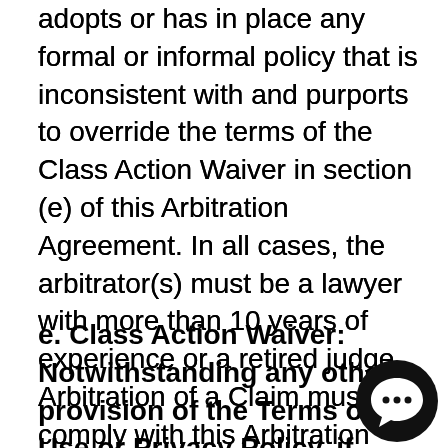adopts or has in place any formal or informal policy that is inconsistent with and purports to override the terms of the Class Action Waiver in section (e) of this Arbitration Agreement. In all cases, the arbitrator(s) must be a lawyer with more than 10 years of experience or a retired judge. Arbitration of a Claim must comply with this Arbitration Agreement and, to the extent not inconsistent or in conflict with this Arbitration Agreement, the applicable rules of the arbitration Administrator.
e. Class Action Waiver: Notwithstanding any other provision of the Terms of Use or Privacy Policy, if either you or we elect to arbitrate a Claim, neither you nor we will have the r... (a) to participate in a class action, private atto...
[Figure (illustration): Black circular chat bubble icon with a speech bubble symbol inside, positioned in the bottom-right corner of the page.]